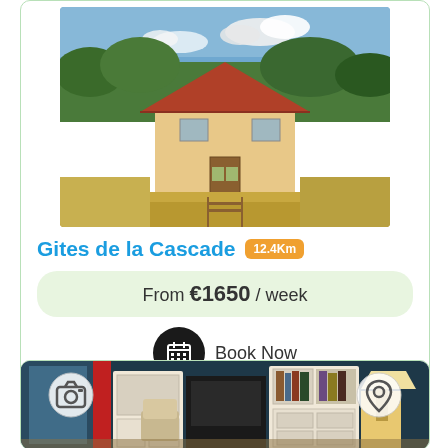[Figure (photo): Exterior photo of Gites de la Cascade property showing a house with red roof surrounded by trees and fields]
Gites de la Cascade 12.4Km
From €1650 / week
Book Now
[Figure (photo): Interior photo of a living room with white furniture, bookcase, TV unit and dark blue walls]